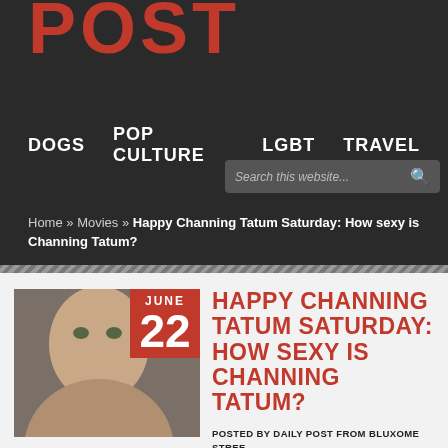POST
DOGS  POP CULTURE  LGBT  TRAVEL
Search this website...
Home » Movies » Happy Channing Tatum Saturday: How sexy is Channing Tatum?
HAPPY CHANNING TATUM SATURDAY: HOW SEXY IS CHANNING TATUM?
POSTED BY DAILY POST FROM BLUXOME STREET · LEAVE A COMMENT